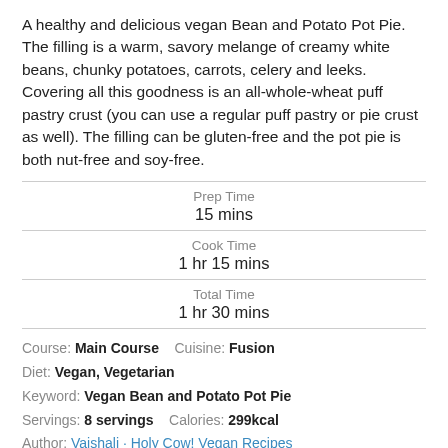A healthy and delicious vegan Bean and Potato Pot Pie. The filling is a warm, savory melange of creamy white beans, chunky potatoes, carrots, celery and leeks. Covering all this goodness is an all-whole-wheat puff pastry crust (you can use a regular puff pastry or pie crust as well). The filling can be gluten-free and the pot pie is both nut-free and soy-free.
Prep Time
15 mins
Cook Time
1 hr 15 mins
Total Time
1 hr 30 mins
Course: Main Course    Cuisine: Fusion
Diet: Vegan, Vegetarian
Keyword: Vegan Bean and Potato Pot Pie
Servings: 8 servings    Calories: 299kcal
Author: Vaishali · Holy Cow! Vegan Recipes